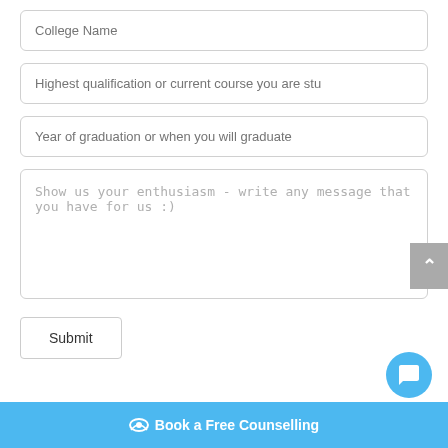College Name
Highest qualification or current course you are stu
Year of graduation or when you will graduate
Show us your enthusiasm - write any message that you have for us :)
Submit
Book a FreeCounselling